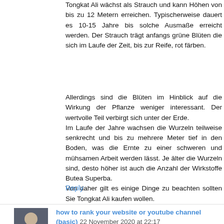Tongkat Ali wächst als Strauch und kann Höhen von bis zu 12 Metern erreichen. Typischerweise dauert es 10-15 Jahre bis solche Ausmaße erreicht werden. Der Strauch trägt anfangs grüne Blüten die sich im Laufe der Zeit, bis zur Reife, rot färben.
Allerdings sind die Blüten im Hinblick auf die Wirkung der Pflanze weniger interessant. Der wertvolle Teil verbirgt sich unter der Erde.
Im Laufe der Jahre wachsen die Wurzeln teilweise senkrecht und bis zu mehrere Meter tief in den Boden, was die Ernte zu einer schweren und mühsamen Arbeit werden lässt. Je älter die Wurzeln sind, desto höher ist auch die Anzahl der Wirkstoffe Butea Superba.
Von daher gilt es einige Dinge zu beachten sollten Sie Tongkat Ali kaufen wollen.
Reply
how to rank your website or youtube channel (basic) 22 November 2020 at 22:17
dubai internet directory has business listings, phone...